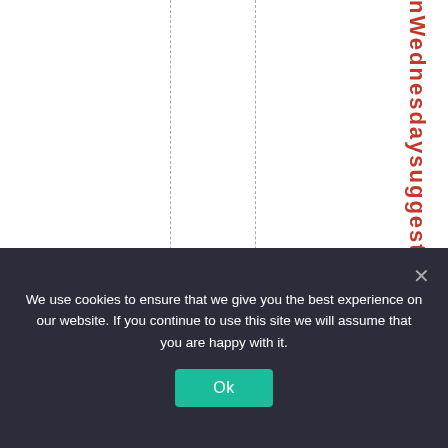Wednesdaysuggested
We use cookies to ensure that we give you the best experience on our website. If you continue to use this site we will assume that you are happy with it. Ok ×